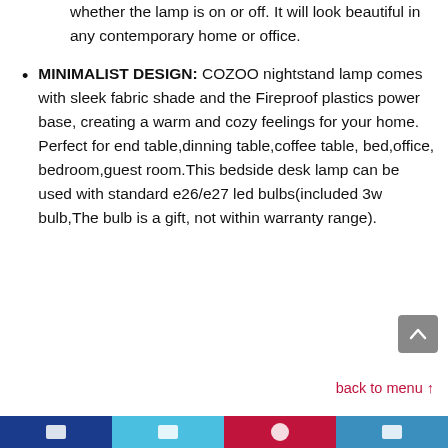whether the lamp is on or off. It will look beautiful in any contemporary home or office.
MINIMALIST DESIGN: COZOO nightstand lamp comes with sleek fabric shade and the Fireproof plastics power base, creating a warm and cozy feelings for your home. Perfect for end table,dinning table,coffee table, bed,office, bedroom,guest room.This bedside desk lamp can be used with standard e26/e27 led bulbs(included 3w bulb,The bulb is a gift, not within warranty range).
back to menu ↑